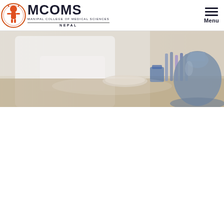MCOMS - Manipal College of Medical Sciences, Nepal
[Figure (photo): Banner photo showing a person in a white lab coat working at a laboratory bench with scientific glassware including test tubes and a large flask in the foreground, blurred background]